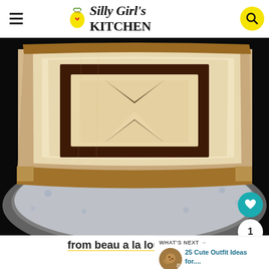This Silly Girl's KITCHEN
[Figure (photo): A slice of marble/checkerboard cake with chocolate and vanilla swirls, served on a blue and white floral plate on a dark background]
from beau a la louche
WHAT'S NEXT → 25 Cute Outfit Ideas for....